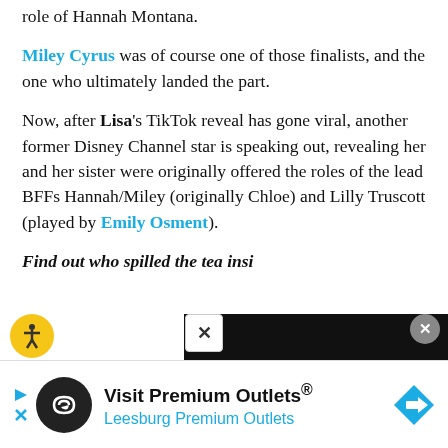actresses who were in the running for the lead role of Hannah Montana.
Miley Cyrus was of course one of those finalists, and the one who ultimately landed the part.
Now, after Lisa's TikTok reveal has gone viral, another former Disney Channel star is speaking out, revealing her and her sister were originally offered the roles of the lead BFFs Hannah/Miley (originally Chloe) and Lilly Truscott (played by Emily Osment).
Find out who spilled the tea insi...
[Figure (screenshot): Advertisement banner for Visit Premium Outlets / Leesburg Premium Outlets with logo icon and navigation arrow icon]